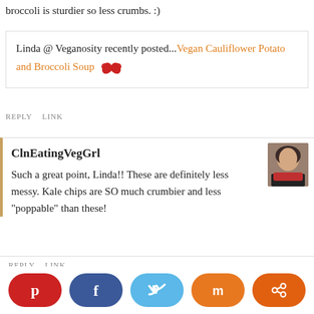broccoli is sturdier so less crumbs. :)
Linda @ Veganosity recently posted...Vegan Cauliflower Potato and Broccoli Soup
REPLY   LINK
ClnEatingVegGrl
[Figure (photo): Avatar photo of ClnEatingVegGrl, a woman with dark hair wearing a red scarf]
Such a great point, Linda!! These are definitely less messy. Kale chips are SO much crumbier and less "poppable" than these!
REPLY   LINK
Erin @ Her Heartland Soul
[Figure (photo): Avatar photo of Erin at Her Heartland Soul]
[Figure (infographic): Social sharing bar with Pinterest, Facebook, Twitter, Mix, and Share buttons]